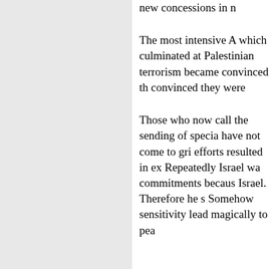new concessions in n
The most intensive A which culminated at Palestinian terrorism became convinced th convinced they were
Those who now call the sending of specia have not come to gri efforts resulted in ex Repeatedly Israel wa commitments becaus Israel. Therefore he s Somehow sensitivity lead magically to pea